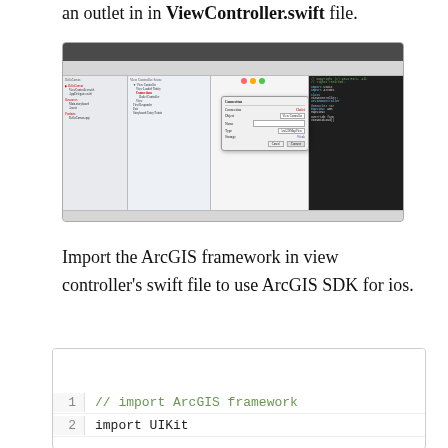an outlet in in ViewController.swift file.
[Figure (screenshot): Xcode IDE screenshot showing the Interface Builder with a popup dialog for connecting an outlet to the ViewController class.]
Import the ArcGIS framework in view controller’s swift file to use ArcGIS SDK for ios.
// import ArcGIS framework
import UIKit